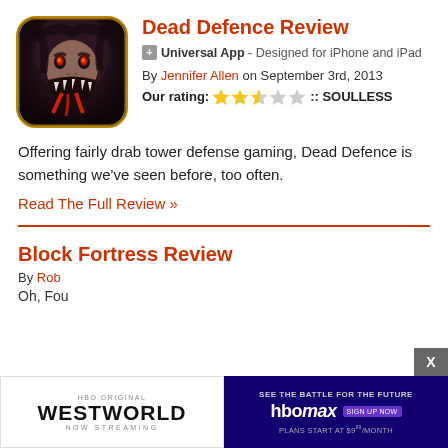[Figure (illustration): App icon for Dead Defence - dark illustration of a zombie/horror creature with red eyes and sharp teeth, rounded rectangle icon with gold border]
Dead Defence Review
Universal App - Designed for iPhone and iPad
By Jennifer Allen on September 3rd, 2013
Our rating: ★★½☆☆ :: SOULLESS
Offering fairly drab tower defense gaming, Dead Defence is something we've seen before, too often.
Read The Full Review »
Block Fortress Review
By Rob
Oh, Fou
[Figure (screenshot): HBO Original Westworld Now Streaming advertisement banner]
[Figure (screenshot): HBO Max - See The Battle For The Future - Plans Start At $9.99/Month advertisement banner]